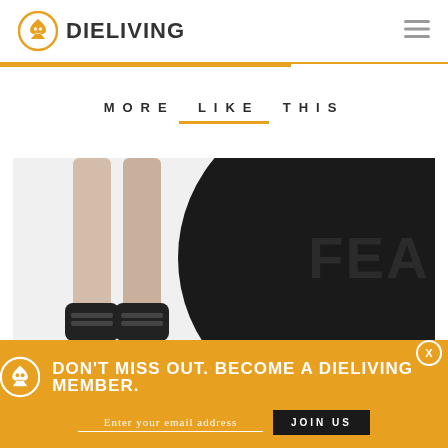DIELIVING
MORE LIKE THIS
[Figure (photo): A person's legs wearing ankle weights next to a large black medicine ball with the text 'FEA' (part of FEAR) embossed on it, against a white background.]
DON'T MISS OUT. BECOME A DIELIVING MEMBER.
Enter your email address
JOIN US